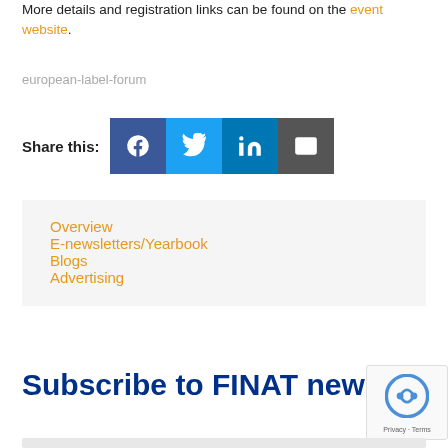More details and registration links can be found on the event website.
european-label-forum
Share this:
[Figure (infographic): Social share buttons: Facebook, Twitter, LinkedIn, Email]
Overview
E-newsletters/Yearbook
Blogs
Advertising
Subscribe to FINAT news